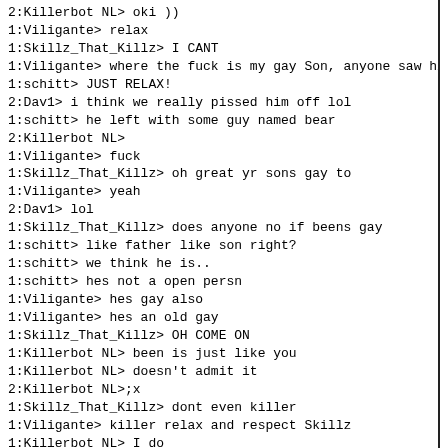2:Killerbot NL> oki  ))
1:Viligante> relax
1:Skillz_That_Killz> I CANT
1:Viligante> where the fuck is my gay Son, anyone saw him?
1:schitt> JUST RELAX!
2:Dav1> i think we really pissed him off lol
1:schitt> he left with some guy named bear
2:Killerbot NL>
1:Viligante> fuck
1:Skillz_That_Killz> oh great yr sons gay to
1:Viligante> yeah
2:Dav1> lol
1:Skillz_That_Killz> does anyone no if beens gay
1:schitt> like father like son right?
1:schitt> we think he is..
1:schitt> hes not a open persn
1:Viligante> hes gay also
1:Viligante> hes an old gay
1:Skillz_That_Killz> OH COME ON
1:Killerbot NL> been is just like you
1:Killerbot NL> doesn't admit it
2:Killerbot NL>;x
1:Skillz_That_Killz> dont even killer
1:Viligante> killer relax and respect Skillz
1:Killerbot NL> I do
1:Skillz_That_Killz> thank you...
1:Killerbot NL>  )
1:Killerbot NL> you have msn skillz?
2:Killerbot NL>; x
1:Skillz_That_Killz> no
2:schitt> roflmao
1:Killerbot NL> ew
2:Viligante> HAHAHA
2:schitt> stop so i can post it.
2:schitt> lol
2:Killerbot NL>
2:Killerbot NL> ok
2:Viligante> ok lol